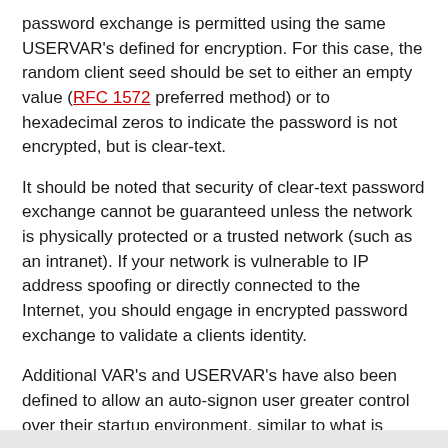password exchange is permitted using the same USERVAR's defined for encryption. For this case, the random client seed should be set to either an empty value (RFC 1572 preferred method) or to hexadecimal zeros to indicate the password is not encrypted, but is clear-text.
It should be noted that security of clear-text password exchange cannot be guaranteed unless the network is physically protected or a trusted network (such as an intranet). If your network is vulnerable to IP address spoofing or directly connected to the Internet, you should engage in encrypted password exchange to validate a clients identity.
Additional VAR's and USERVAR's have also been defined to allow an auto-signon user greater control over their startup environment, similar to what is supported using the Open Virtual Terminal (QTVOPNVT) API [3].
The standard VAR's supported to accomplish this are: